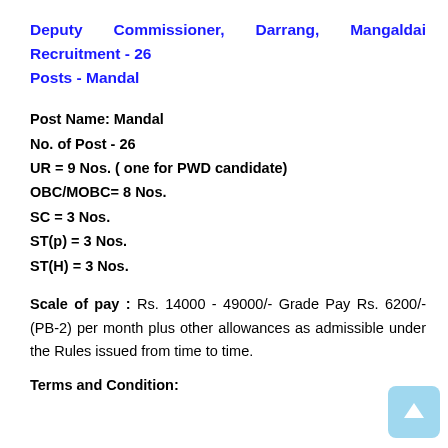Deputy Commissioner, Darrang, Mangaldai Recruitment - 26 Posts - Mandal
Post Name: Mandal
No. of Post - 26
UR = 9 Nos. ( one for PWD candidate)
OBC/MOBC= 8 Nos.
SC = 3 Nos.
ST(p) = 3 Nos.
ST(H) = 3 Nos.
Scale of pay : Rs. 14000 - 49000/- Grade Pay Rs. 6200/-(PB-2) per month plus other allowances as admissible under the Rules issued from time to time.
Terms and Condition: